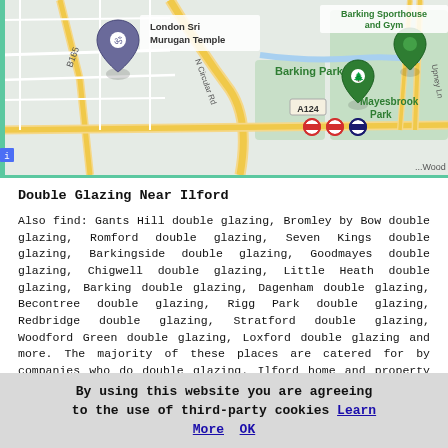[Figure (map): Google Maps view showing Barking area of London, with markers for London Sri Murugan Temple, Barking Park, Barking Sporthouse and Gym, and Mayesbrook Park. Roads including N Circular Rd, A124, B165 visible. Tube/rail station markers on A124.]
Double Glazing Near Ilford
Also find: Gants Hill double glazing, Bromley by Bow double glazing, Romford double glazing, Seven Kings double glazing, Barkingside double glazing, Goodmayes double glazing, Chigwell double glazing, Little Heath double glazing, Barking double glazing, Dagenham double glazing, Becontree double glazing, Rigg Park double glazing, Redbridge double glazing, Stratford double glazing, Woodford Green double glazing, Loxford double glazing and more. The majority of these places are catered for by companies who do double glazing. Ilford home and property owners can get double glazing quotations by clicking here.
By using this website you are agreeing to the use of third-party cookies Learn More  OK